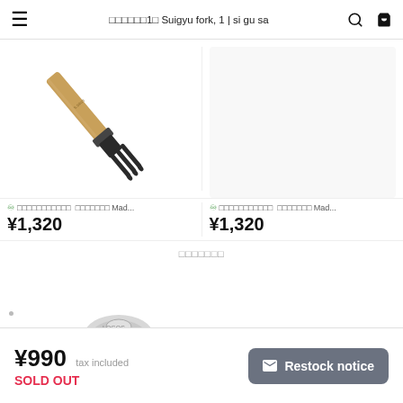≡  □□□□□□1□ Suigyu fork, 1 | si gu sa  🔍  🛒
[Figure (photo): A garden fork / barbecue fork with a wooden handle and black metal three-tine head, shown diagonally]
✪ □□□□□□□□□□□  □□□□□□□ Mad...  ¥1,320
✪ □□□□□□□□□□□  □□□□□□□ Mad...  ¥1,320
□□□□□□□
[Figure (photo): Partial view of a round product (appears to be a lid or plate) at the bottom of the viewport]
¥990  tax included  SOLD OUT  ✉ Restock notice